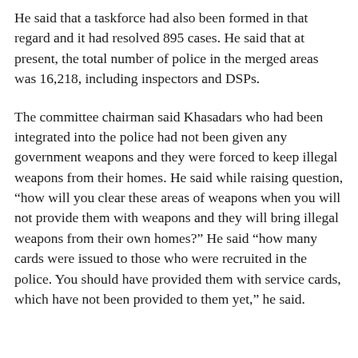He said that a taskforce had also been formed in that regard and it had resolved 895 cases. He said that at present, the total number of police in the merged areas was 16,218, including inspectors and DSPs.
The committee chairman said Khasadars who had been integrated into the police had not been given any government weapons and they were forced to keep illegal weapons from their homes. He said while raising question, “how will you clear these areas of weapons when you will not provide them with weapons and they will bring illegal weapons from their own homes?” He said “how many cards were issued to those who were recruited in the police. You should have provided them with service cards, which have not been provided to them yet,” he said.